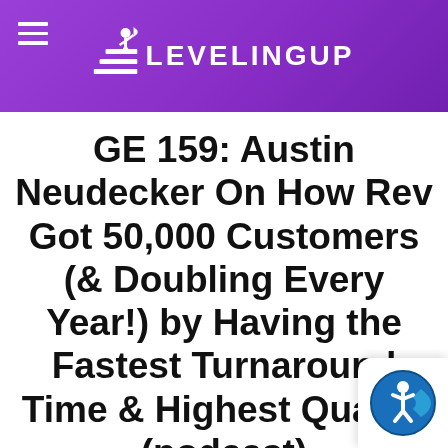LEVELINGUP
GE 159: Austin Neudecker On How Rev Got 50,000 Customers (& Doubling Every Year!) by Having the Fastest Turnaround Time & Highest Quality (podcast)
[Figure (logo): Accessibility icon badge in bottom right corner]